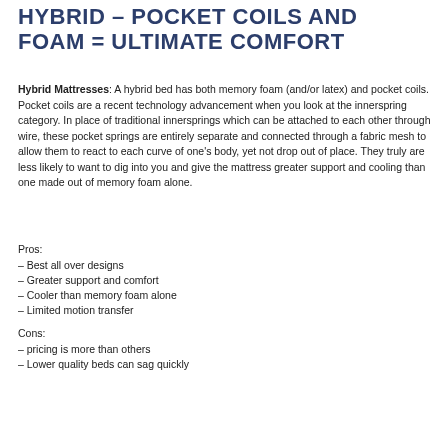HYBRID – POCKET COILS AND FOAM = ULTIMATE COMFORT
Hybrid Mattresses: A hybrid bed has both memory foam (and/or latex) and pocket coils. Pocket coils are a recent technology advancement when you look at the innerspring category. In place of traditional innersprings which can be attached to each other through wire, these pocket springs are entirely separate and connected through a fabric mesh to allow them to react to each curve of one's body, yet not drop out of place. They truly are less likely to want to dig into you and give the mattress greater support and cooling than one made out of memory foam alone.
Pros:
– Best all over designs
– Greater support and comfort
– Cooler than memory foam alone
– Limited motion transfer
Cons:
– pricing is more than others
– Lower quality beds can sag quickly